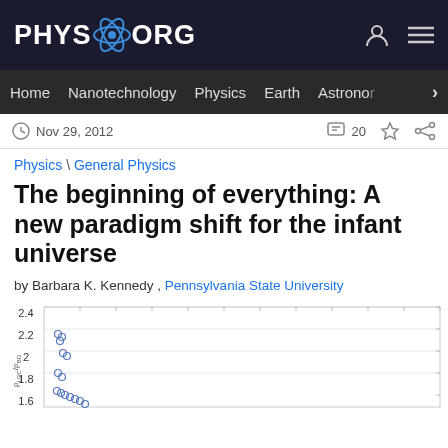PHYS.ORG
Home  Nanotechnology  Physics  Earth  Astronomy
Nov 29, 2012    20
Physics \ General Physics
The beginning of everything: A new paradigm shift for the infant universe
by Barbara K. Kennedy , Pennsylvania State University
[Figure (continuous-plot): Scatter plot with y-axis values from 1.4 to 2.4 and small circular data points clustered near the lower-left portion of the chart, partially cropped at bottom.]